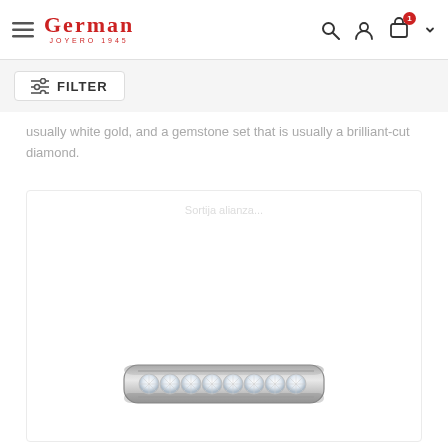German Joyero 1945 — navigation bar with filter
usually white gold, and a gemstone set that is usually a brilliant-cut diamond.
[Figure (photo): Diamond eternity/wedding band ring with channel-set brilliant-cut diamonds in white gold/platinum, shown from top view against white background.]